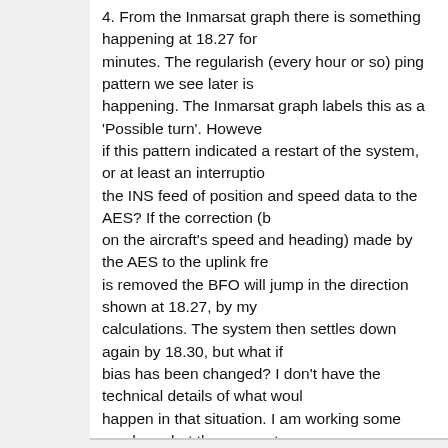4. From the Inmarsat graph there is something happening at 18.27 for minutes. The regularish (every hour or so) ping pattern we see later is happening. The Inmarsat graph labels this as a 'Possible turn'. However if this pattern indicated a restart of the system, or at least an interruption the INS feed of position and speed data to the AES? If the correction (b on the aircraft's speed and heading) made by the AES to the uplink fre is removed the BFO will jump in the direction shown at 18.27, by my calculations. The system then settles down again by 18.30, but what if bias has been changed? I don't have the technical details of what wou happen in that situation. I am working some numbers, but they are not convincing yet.
5. If the dataset is divided into two, before and after 18.30, then they ca each be fitted (roughly) using a model with the C-band downlink freque but with a different start offset.
As I said earlier, this is brain-storming stuff (and probably wrong). How the search area changed a week or so ago. The original ping-arc data have been convincing and defined the search area precisely, if it was w founded, yet suddenly the search area moved massively to the NE. Th interpretation of the data changed for some reason, IMHO.